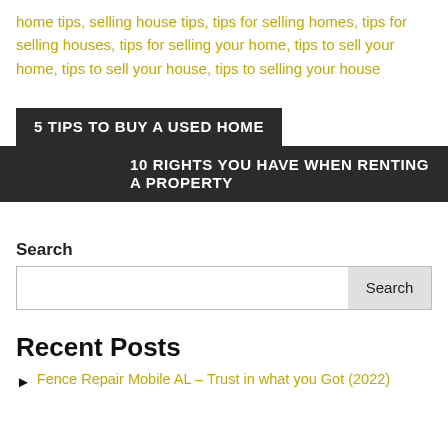home tips, selling house tips, tips for selling homes, tips for selling houses, tips for selling your home, tips to sell your home, tips to sell your house, tips to selling your house
5 TIPS TO BUY A USED HOME
10 RIGHTS YOU HAVE WHEN RENTING A PROPERTY
Search
Recent Posts
Fence Repair Mobile AL – Trust in what you Got (2022)